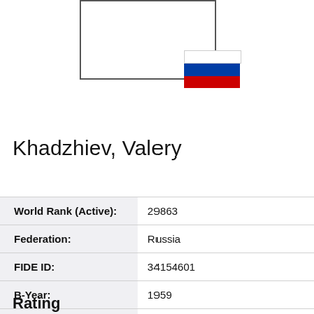[Figure (illustration): Photo placeholder box (empty white rectangle with border) and Russian flag (white, blue, red horizontal stripes)]
Khadzhiev, Valery
| World Rank (Active): | 29863 |
| Federation: | Russia |
| FIDE ID: | 34154601 |
| B-Year: | 1959 |
| Sex: | Male |
| FIDE title: | None |
Rating